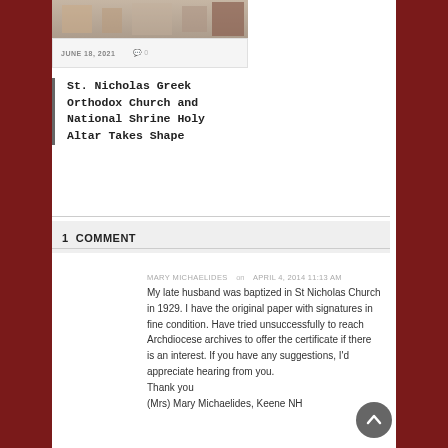[Figure (photo): Partial photo of St. Nicholas Greek Orthodox Church interior]
JUNE 18, 2021   💬 0
St. Nicholas Greek Orthodox Church and National Shrine Holy Altar Takes Shape
1 COMMENT
MARY MICHAELIDES  on  APRIL 4, 2014 11:13 AM
My late husband was baptized in St Nicholas Church in 1929. I have the original paper with signatures in fine condition. Have tried unsuccessfully to reach Archdiocese archives to offer the certificate if there is an interest. If you have any suggestions, I'd appreciate hearing from you.
Thank you
(Mrs) Mary Michaelides, Keene NH